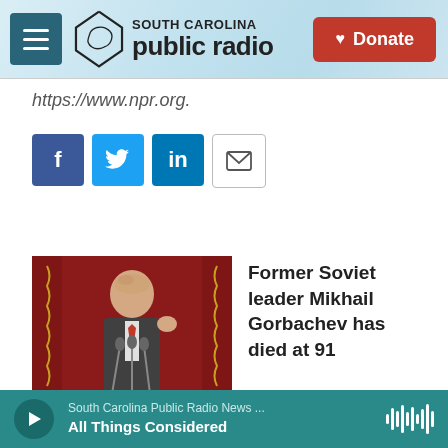South Carolina Public Radio
https://www.npr.org.
[Figure (other): Social share buttons: Facebook, Twitter, LinkedIn, Email]
[Figure (photo): Photo of Mikhail Gorbachev speaking at a podium with red curtain background]
Former Soviet leader Mikhail Gorbachev has died at 91
Former: What the new state to about to achieve...
South Carolina Public Radio News ... All Things Considered